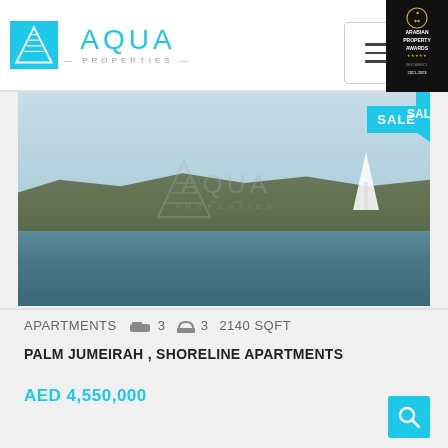[Figure (logo): Aqua Properties logo with cyan triangle icon and text]
[Figure (photo): Aerial waterfront view of Palm Jumeirah with Burj Al Arab visible in background, SALE badge in top right corner]
APARTMENTS  🛏 3  🛁 3  2140 SQFT
PALM JUMEIRAH , SHORELINE APARTMENTS
AED 4,550,000